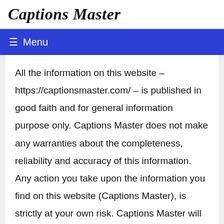Captions Master
≡ Menu
All the information on this website – https://captionsmaster.com/ – is published in good faith and for general information purpose only. Captions Master does not make any warranties about the completeness, reliability and accuracy of this information. Any action you take upon the information you find on this website (Captions Master), is strictly at your own risk. Captions Master will not be liable for any losses and/or damages in connection with the use of our